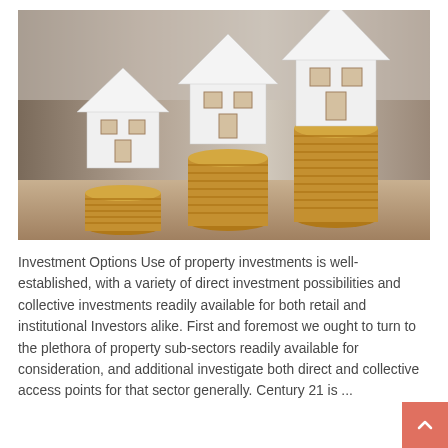[Figure (photo): Three paper house cutouts in ascending heights placed on stacks of coins, representing growing property investment values, photographed on a wooden surface with blurred background.]
Investment Options Use of property investments is well-established, with a variety of direct investment possibilities and collective investments readily available for both retail and institutional Investors alike. First and foremost we ought to turn to the plethora of property sub-sectors readily available for consideration, and additional investigate both direct and collective access points for that sector generally. Century 21 is ...